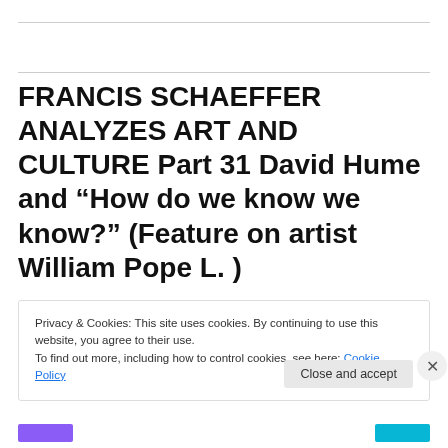FRANCIS SCHAEFFER ANALYZES ART AND CULTURE Part 31 David Hume and “How do we know we know?” (Feature on artist William Pope L. )
Privacy & Cookies: This site uses cookies. By continuing to use this website, you agree to their use.
To find out more, including how to control cookies, see here: Cookie Policy